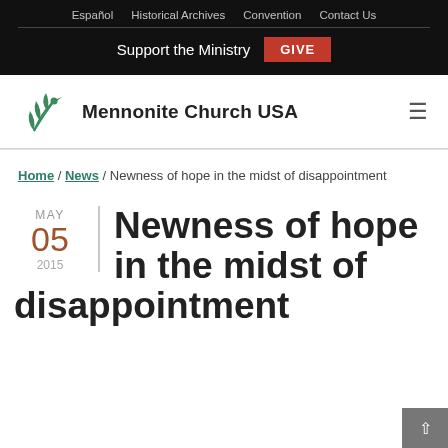Español / Historical Archives / Convention / Contact Us
Support the Ministry  GIVE
[Figure (logo): Mennonite Church USA logo with dove/leaf illustration and bold text 'Mennonite Church USA']
Home / News / Newness of hope in the midst of disappointment
Newness of hope in the midst of disappointment
MAY 05 2015